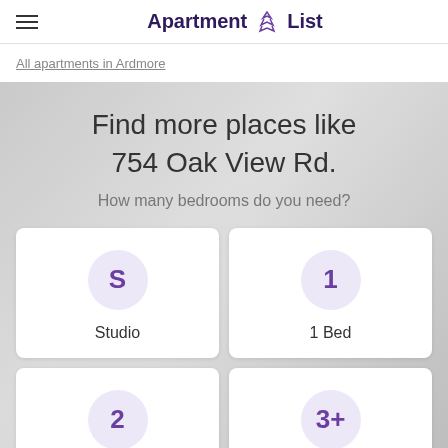Apartment List
All apartments in Ardmore
Find more places like 754 Oak View Rd.
How many bedrooms do you need?
S – Studio
1 – 1 Bed
2 – 2 Beds
3+ – 3+ Beds